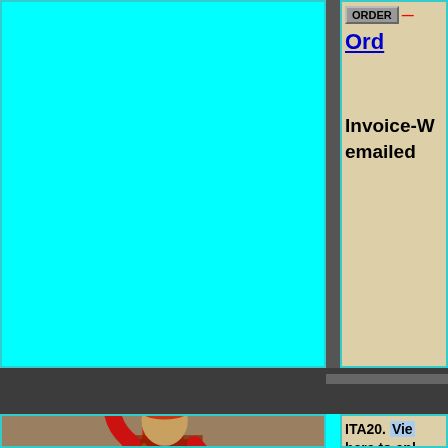[Figure (screenshot): Top left large cyan/turquoise colored cell area]
ORDER
Ord
Invoice-W emailed
[Figure (photo): Italian medieval standard bearer/flag bearer in colorful harlequin costume holding a large diamond-patterned flag, standing in front of a stone building]
SEE MORE
ITA20. Vie here to enl
CHIOCC Prelinen, p Venturini, 117, divide unused. M